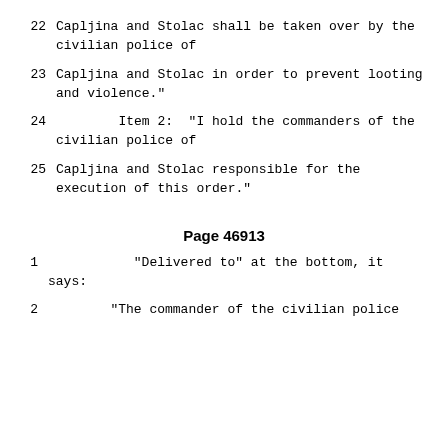22      Capljina and Stolac shall be taken over by the civilian police of
23      Capljina and Stolac in order to prevent looting and violence."
24              Item 2:  "I hold the commanders of the civilian police of
25      Capljina and Stolac responsible for the execution of this order."
Page 46913
1                   "Delivered to" at the bottom, it says:
2               "The commander of the civilian police